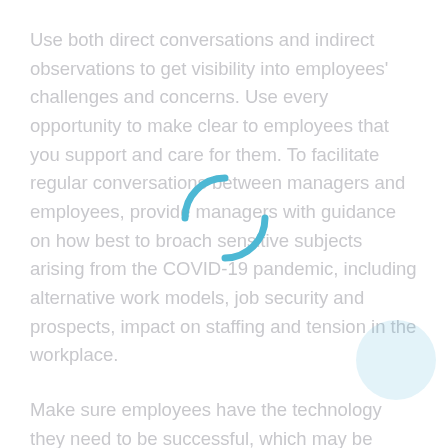Use both direct conversations and indirect observations to get visibility into employees' challenges and concerns. Use every opportunity to make clear to employees that you support and care for them. To facilitate regular conversations between managers and employees, provide managers with guidance on how best to broach sensitive subjects arising from the COVID-19 pandemic, including alternative work models, job security and prospects, impact on staffing and tension in the workplace.
Make sure employees have the technology they need to be successful, which may be more than just a mobile phone and laptop. For example, if you expect employees to attend virtual meetings, do they have adequate cameras?
Even if you don't have an extensive set of technology and